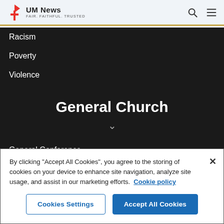UM News | FAIR. FAITHFUL. TRUSTED.
Racism
Poverty
Violence
General Church
General Conference
Bishops
By clicking "Accept All Cookies", you agree to the storing of cookies on your device to enhance site navigation, analyze site usage, and assist in our marketing efforts. Cookie policy
Cookies Settings | Accept All Cookies